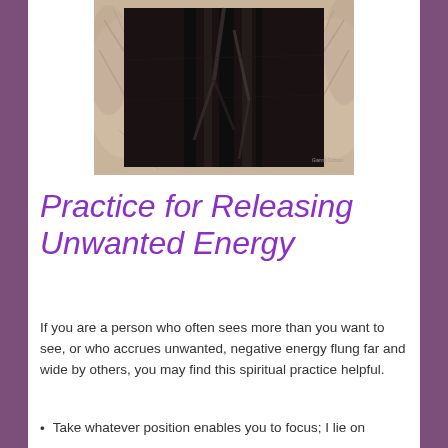[Figure (photo): Artistic composite photograph with a dark central panel showing vertical streaks and abstract dark forms against a white/sepia feathery or textured background. Photo credit visible in bottom right of inner image.]
Practice for Releasing Unwanted Energy
If you are a person who often sees more than you want to see, or who accrues unwanted, negative energy flung far and wide by others, you may find this spiritual practice helpful.
Take whatever position enables you to focus; I lie on